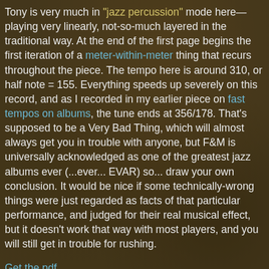Tony is very much in "jazz percussion" mode here— playing very linearly, not-so-much layered in the traditional way. At the end of the first page begins the first iteration of a meter-within-meter thing that recurs throughout the piece. The tempo here is around 310, or half note = 155. Everything speeds up severely on this record, and as I recorded in my earlier piece on fast tempos on albums, the tune ends at 356/178. That's supposed to be a Very Bad Thing, which will almost always get you in trouble with anyone, but F&M is universally acknowledged as one of the greatest jazz albums ever (...ever... EVAR) so... draw your own conclusion. It would be nice if some technically-wrong things were just regarded as facts of that particular performance, and judged for their real musical effect, but it doesn't work that way with most players, and you will still get in trouble for rushing.
Get the pdf
Audio after the break: